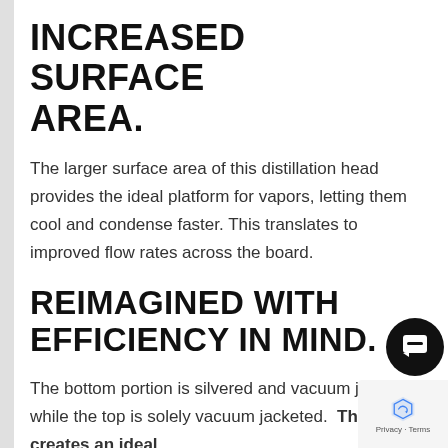INCREASED SURFACE AREA.
The larger surface area of this distillation head provides the ideal platform for vapors, letting them cool and condense faster. This translates to improved flow rates across the board.
REIMAGINED WITH EFFICIENCY IN MIND.
The bottom portion is silvered and vacuum jacketed, while the top is solely vacuum jacketed.  This creates an ideal